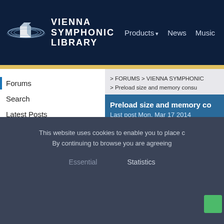VIENNA SYMPHONIC LIBRARY | Products | News | Music
Forums
Search
Latest Posts
> FORUMS > VIENNA SYMPHONIC
> Preload size and memory consu
Preload size and memory co
Last post Mon, Mar 17 2014
Posted on Thu, Mar 06 2014 10
by Sapkiller
Joined on Tue, Nov 05 2002, Co
395
This website uses cookies to enable you to place c
By continuing to browse you are agreeing
Essential     Statistics